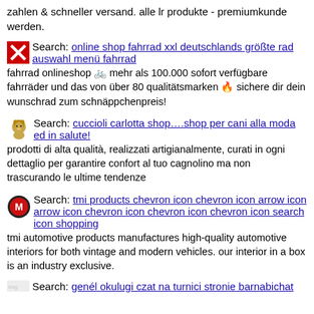zahlen & schneller versand. alle lr produkte - premiumkunde werden.
Search: online shop fahrrad xxl deutschlands größte rad auswahl menü fahrrad
fahrrad onlineshop 🚲 mehr als 100.000 sofort verfügbare fahrräder und das von über 80 qualitätsmarken 🔥 sichere dir dein wunschrad zum schnäppchenpreis!
Search: cuccioli carlotta shop….shop per cani alla moda ed in salute!
prodotti di alta qualità, realizzati artigianalmente, curati in ogni dettaglio per garantire confort al tuo cagnolino ma non trascurando le ultime tendenze
Search: tmi products chevron icon chevron icon arrow icon arrow icon chevron icon chevron icon chevron icon search icon shopping
tmi automotive products manufactures high-quality automotive interiors for both vintage and modern vehicles. our interior in a box is an industry exclusive.
Search: genél okulugi czat na turnici stronie barnabichat